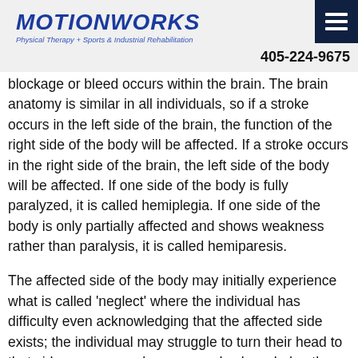[Figure (logo): MotionWorks logo with text 'Physical Therapy + Sports & Industrial Rehabilitation']
405-224-9675
blockage or bleed occurs within the brain. The brain anatomy is similar in all individuals, so if a stroke occurs in the left side of the brain, the function of the right side of the body will be affected. If a stroke occurs in the right side of the brain, the left side of the body will be affected. If one side of the body is fully paralyzed, it is called hemiplegia. If one side of the body is only partially affected and shows weakness rather than paralysis, it is called hemiparesis.
The affected side of the body may initially experience what is called 'neglect' where the individual has difficulty even acknowledging that the affected side exists; the individual may struggle to turn their head to that side or even reach across and acknowledge the presence of that side of the body. This occurs more frequently and with greater severity when the right side of the brain has had the stroke and is